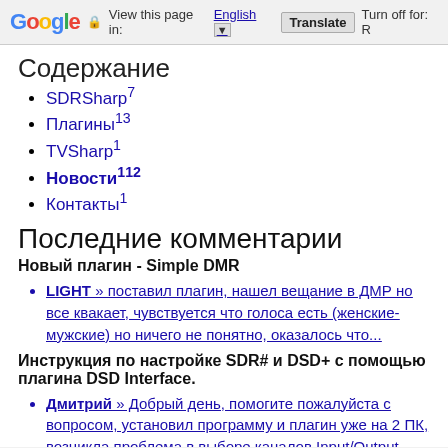Google — View this page in: English [▼] Translate Turn off for: R
Содержание
SDRSharp⁷
Плагины¹³
TVSharp¹
Новости¹¹²
Контакты¹
Последние комментарии
Новый плагин - Simple DMR
LIGHT » поставил плагин, нашел вещание в ДМР но все квакает, чувствуется что голоса есть (женские-мужские) но ничего не понятно, оказалось что...
Инструкция по настройке SDR# и DSD+ с помощью плагина DSD Interface.
Дмитрий » Добрый день, помогите пожалуйста с вопросом, установил программу и плагин уже на 2 ПК, возникла проблема в выборе каналов Input/Output,...
sergoo » тебе нужно с низу тамже поменять цыфры у меня